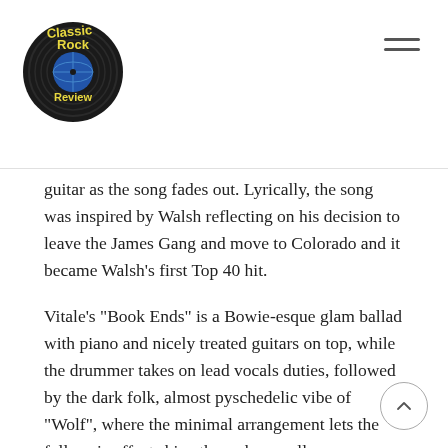Classic Rock Review
guitar as the song fades out. Lyrically, the song was inspired by Walsh reflecting on his decision to leave the James Gang and move to Colorado and it became Walsh’s first Top 40 hit.
Vitale’s “Book Ends” is a Bowie-esque glam ballad with piano and nicely treated guitars on top, while the drummer takes on lead vocals duties, followed by the dark folk, almost pyschedelic vibe of “Wolf”, where the minimal arrangement lets the full sonic effect shine through as well as concentrate on Walsh's vocal delivery. “Midnight Moodies” is a jazzy,